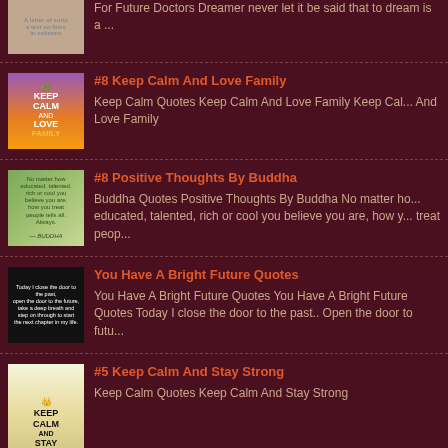For Future Doctors Dreamer never let it be said that to dream is to...
#8 Keep Calm And Love Family
Keep Calm Quotes  Keep Calm And Love Family Keep Calm And Love Family
#8 Positive Thoughts By Buddha
Buddha Quotes Positive Thoughts By Buddha No matter how educated, talented, rich or cool you believe you are, how you treat peop...
You Have A Bright Future Quotes
You Have A Bright Future Quotes  You Have A Bright Future Quotes Today I close the door to the past.. Open the door to futu...
#5 Keep Calm And Stay Strong
Keep Calm Quotes Keep Calm And Stay Strong